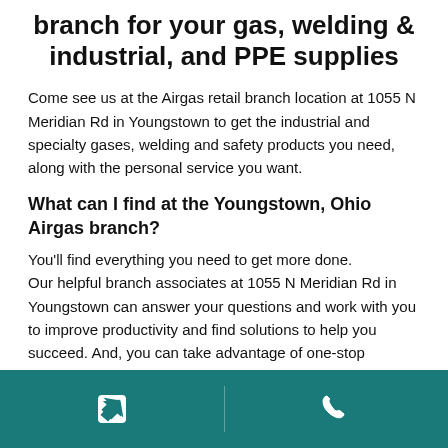branch for your gas, welding & industrial, and PPE supplies
Come see us at the Airgas retail branch location at 1055 N Meridian Rd in Youngstown to get the industrial and specialty gases, welding and safety products you need, along with the personal service you want.
What can I find at the Youngstown, Ohio Airgas branch?
You'll find everything you need to get more done.
Our helpful branch associates at 1055 N Meridian Rd in Youngstown can answer your questions and work with you to improve productivity and find solutions to help you succeed. And, you can take advantage of one-stop shopping for items such as:
Argon, oxygen, acetylene, nitrogen, carbon dioxide plus specialty and medical gases
[Figure (other): Teal footer bar with navigation (turn-by-turn arrow) icon on left and phone icon on right]